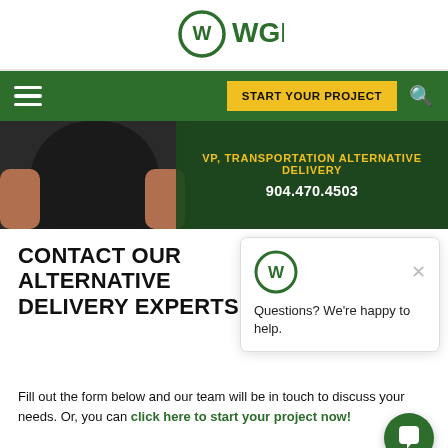WGI
[Figure (screenshot): WGI navigation bar with hamburger menu, START YOUR PROJECT yellow button, and search icon on green background]
[Figure (photo): Hero image showing a person in black shirt with dark green overlay panel showing VP, Transportation Alternative Delivery title and phone number 904.470.4503]
VP, TRANSPORTATION ALTERNATIVE DELIVERY
904.470.4503
CONTACT OUR ALTERNATIVE DELIVERY EXPERTS
[Figure (screenshot): WGI chat popup widget showing W logo, close X button, and text 'Questions? We're happy to help.' with green chat bubble button]
Fill out the form below and our team will be in touch to discuss your needs. Or, you can click here to start your project now!